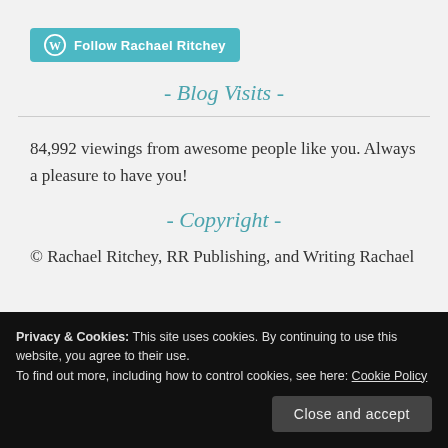[Figure (logo): WordPress Follow button with teal background: 'Follow Rachael Ritchey']
- Blog Visits -
84,992 viewings from awesome people like you. Always a pleasure to have you!
- Copyright -
© Rachael Ritchey, RR Publishing, and Writing Rachael
Privacy & Cookies: This site uses cookies. By continuing to use this website, you agree to their use.
To find out more, including how to control cookies, see here: Cookie Policy
that full and clear credit is given to Rachael Ritchey with